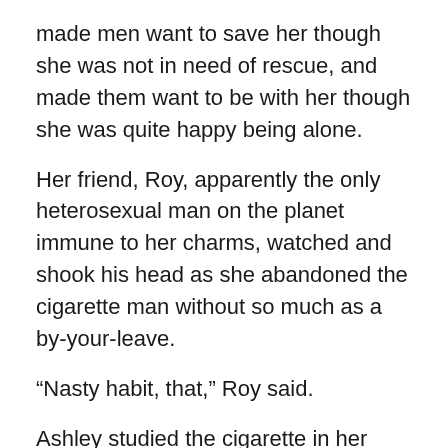made men want to save her though she was not in need of rescue, and made them want to be with her though she was quite happy being alone.
Her friend, Roy, apparently the only heterosexual man on the planet immune to her charms, watched and shook his head as she abandoned the cigarette man without so much as a by-your-leave.
“Nasty habit, that,” Roy said.
Ashley studied the cigarette in her hand.
“I commit what are universally known to be the Three Unforgivable Sins: murder, torture and abuse of human beings on a regular basis in order to draw a paycheck, so I’d say having a fucking cigarette every now and then is the least of my bad habits,” she smiled wanly, inhaled and